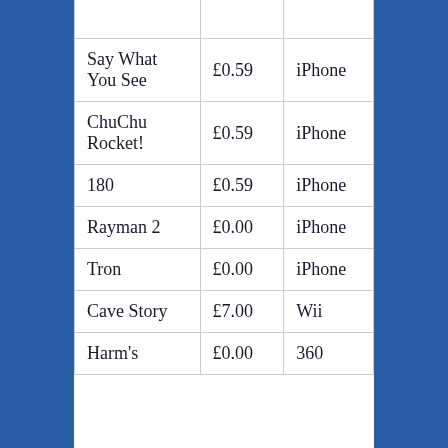| Game | Price | Platform |
| --- | --- | --- |
| Say What You See | £0.59 | iPhone |
| ChuChu Rocket! | £0.59 | iPhone |
| 180 | £0.59 | iPhone |
| Rayman 2 | £0.00 | iPhone |
| Tron | £0.00 | iPhone |
| Cave Story | £7.00 | Wii |
| Harm's | £0.00 | 360 |